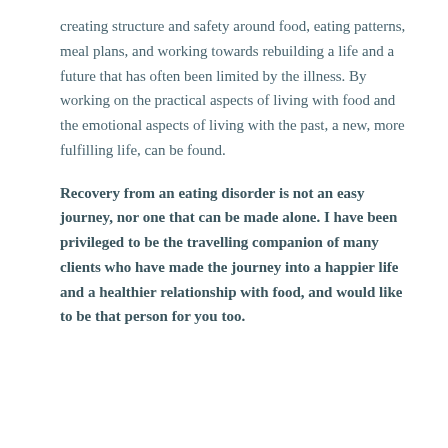creating structure and safety around food, eating patterns, meal plans, and working towards rebuilding a life and a future that has often been limited by the illness. By working on the practical aspects of living with food and the emotional aspects of living with the past, a new, more fulfilling life, can be found.
Recovery from an eating disorder is not an easy journey, nor one that can be made alone. I have been privileged to be the travelling companion of many clients who have made the journey into a happier life and a healthier relationship with food, and would like to be that person for you too.